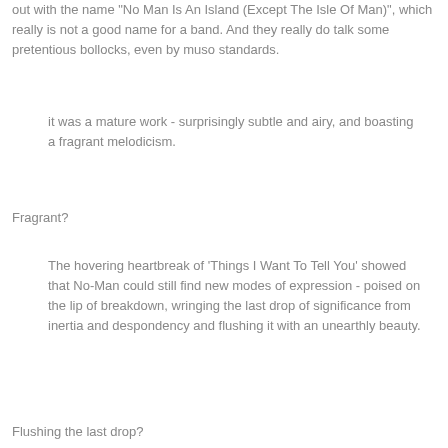out with the name "No Man Is An Island (Except The Isle Of Man)", which really is not a good name for a band. And they really do talk some pretentious bollocks, even by muso standards.
it was a mature work - surprisingly subtle and airy, and boasting a fragrant melodicism.
Fragrant?
The hovering heartbreak of 'Things I Want To Tell You' showed that No-Man could still find new modes of expression - poised on the lip of breakdown, wringing the last drop of significance from inertia and despondency and flushing it with an unearthly beauty.
Flushing the last drop?